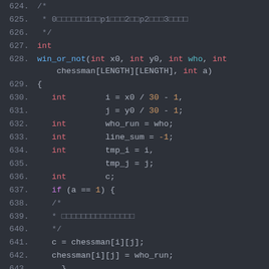[Figure (screenshot): Code editor screenshot showing C source code lines 624-644 with syntax highlighting on a dark background. The code defines a function win_or_not with variable declarations and an if statement.]